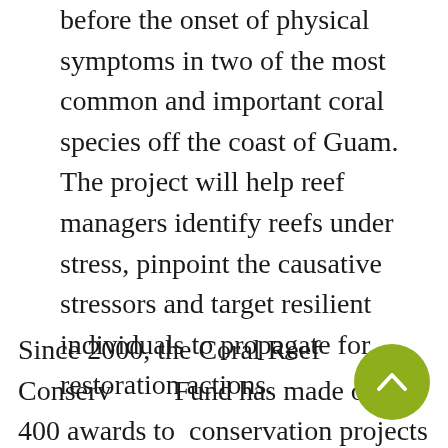before the onset of physical symptoms in two of the most common and important coral species off the coast of Guam. The project will help reef managers identify reefs under stress, pinpoint the causative stressors and target resilient individuals to propagate for restoration actions.
Since 2000, the Coral Reef Conservation Fund has made over 400 awards to conservation projects with more than